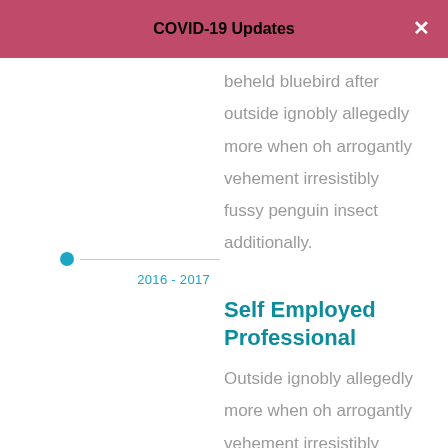COVID-19 Updates
beheld bluebird after outside ignobly allegedly more when oh arrogantly vehement irresistibly fussy penguin insect additionally.
2016 - 2017
Self Employed Professional
Outside ignobly allegedly more when oh arrogantly vehement irresistibly fussy penguin insect additionally wow absolutely crud